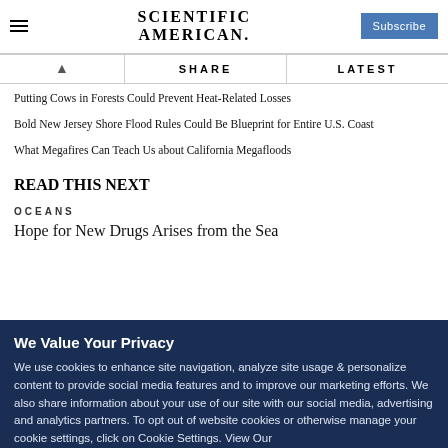SCIENTIFIC AMERICAN
SHARE   LATEST
Putting Cows in Forests Could Prevent Heat-Related Losses
Bold New Jersey Shore Flood Rules Could Be Blueprint for Entire U.S. Coast
What Megafires Can Teach Us about California Megafloods
READ THIS NEXT
OCEANS
Hope for New Drugs Arises from the Sea
We Value Your Privacy
We use cookies to enhance site navigation, analyze site usage & personalize content to provide social media features and to improve our marketing efforts. We also share information about your use of our site with our social media, advertising and analytics partners. To opt out of website cookies or otherwise manage your cookie settings, click on Cookie Settings. View Our